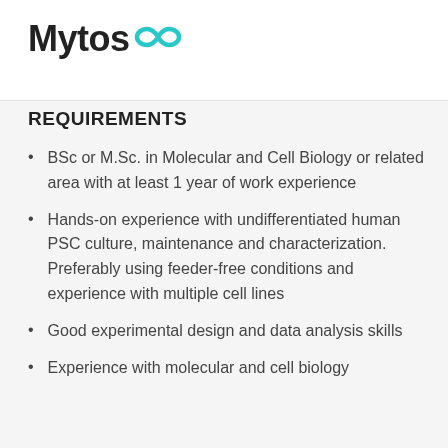[Figure (logo): Mytos logo with teal infinity symbol]
REQUIREMENTS
BSc or M.Sc. in Molecular and Cell Biology or related area with at least 1 year of work experience
Hands-on experience with undifferentiated human PSC culture, maintenance and characterization. Preferably using feeder-free conditions and experience with multiple cell lines
Good experimental design and data analysis skills
Experience with molecular and cell biology